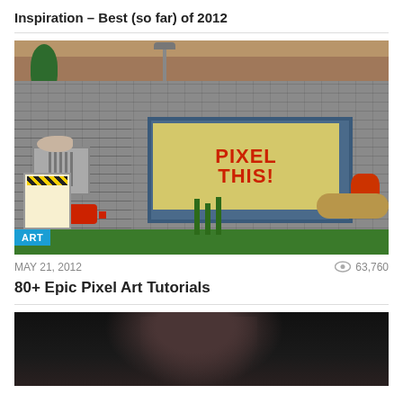Inspiration – Best (so far) of 2012
[Figure (illustration): Isometric pixel art scene of a city building with a billboard reading 'PIXEL THIS!', featuring animals (rat, squirrel), vegetation, pipes, and hazard signs. ART tag overlay in bottom left.]
MAY 21, 2012   63,760
80+ Epic Pixel Art Tutorials
[Figure (photo): Dark portrait photograph showing a person with long dark hair against a black background, partially visible at bottom of page.]